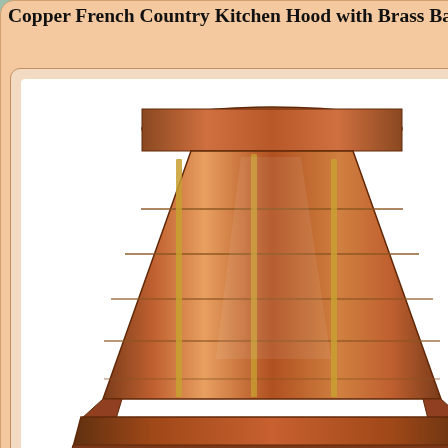Copper French Country Kitchen Hood with Brass Banding
[Figure (photo): Copper French Country Provence range hood with chamfered corners and concave curve sweep design, showing brass banding details]
The Provence range hood features French chamfered corners, concave curve sweep design, a beautiful quarter round hand formed. . .
View Provence Range Hood Details »
Georgian Awning
Handcrafted Georgian Style Copper Awning
[Figure (photo): Handcrafted Georgian style copper awning product photo]
The Georgian copper awning is